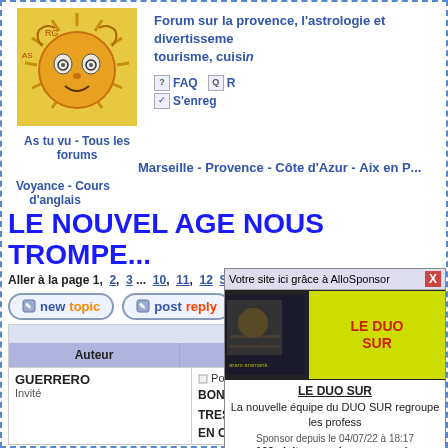[Figure (illustration): Sun face logo with rays, artistic illustration in orange/gold tones]
As tu vu - Tous les forums
Forum sur la provence, l'astrologie et divertissements, tourisme, cuisine
FAQ   R...   S'enreg...
Marseille - Provence - Côte d'Azur - Aix en P...
Voyance - Cours d'anglais
LE NOUVEL AGE NOUS TROMPE...
Aller à la page 1, 2, 3 ... 10, 11, 12 Suivante
newtopic   postreply   www.as-tu-vu.com Index du Forum -> Forum as...
| Auteur | Message |
| --- | --- |
| GUERRERO
Invité | Posté le: Dim Fév...
BONJOUR A TOU...
TRES CHERS A...
EN CE MOMENT... |
[Figure (screenshot): AlloSponsor popup ad for 'LE DUO SUR' showing event photo and yellow text box]